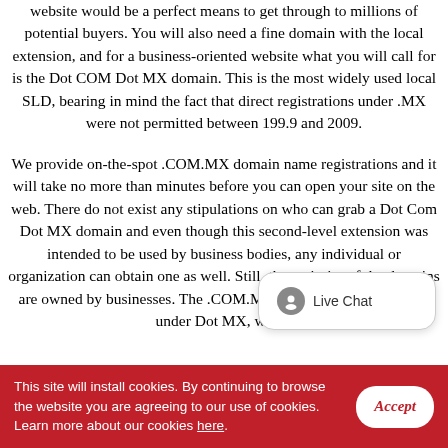website would be a perfect means to get through to millions of potential buyers. You will also need a fine domain with the local extension, and for a business-oriented website what you will call for is the Dot COM Dot MX domain. This is the most widely used local SLD, bearing in mind the fact that direct registrations under .MX were not permitted between 199.9 and 2009.
We provide on-the-spot .COM.MX domain name registrations and it will take no more than minutes before you can open your site on the web. There do not exist any stipulations on who can grab a Dot Com Dot MX domain and even though this second-level extension was intended to be used by business bodies, any individual or organization can obtain one as well. Still, the majority of the domains are owned by businesses. The .COM.MX domain is the single one under Dot MX, which
This site will install cookies. By continuing to browse the website you are agreeing to our use of cookies. Learn more about our cookies here.